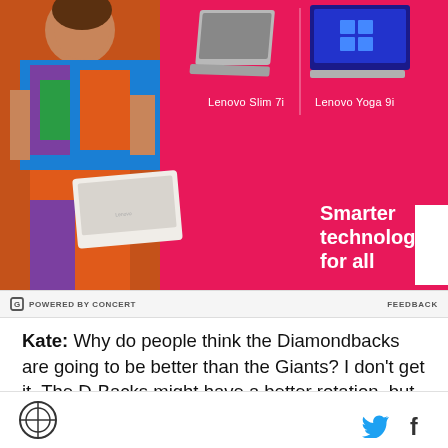[Figure (photo): Lenovo advertisement banner with pink/hot-pink background. Shows a person in colorful outfit holding a white laptop, Lenovo Slim 7i laptop in center, Lenovo Yoga 9i laptop on right, with tagline 'Smarter technology for all' and Lenovo logo.]
POWERED BY CONCERT   FEEDBACK
Kate: Why do people think the Diamondbacks are going to be better than the Giants? I don't get it. The D-Backs might have a better rotation, but the Giants can